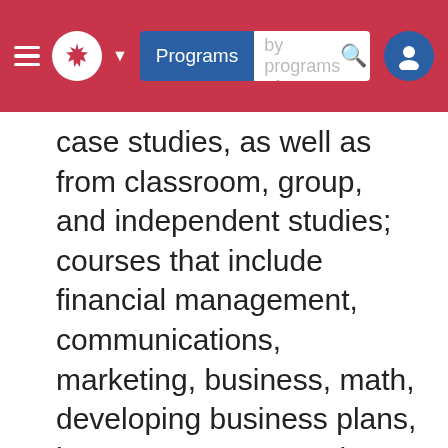Programs  Search by programs of
case studies, as well as from classroom, group, and independent studies; courses that include financial management, communications, marketing, business, math, developing business plans, human resources and operations management; a fast-track option--start in January is available and you can study straight through the summer to complete your diploma faster and graduate sooner; and flexibility--you can transfer to one of our business specialty diplomas